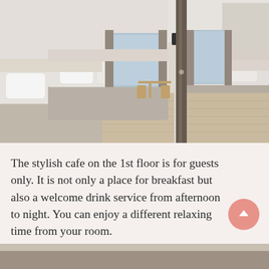[Figure (photo): Hotel room photo showing two views of a clean, modern Japanese hotel room with twin beds dressed in white linens, light wood floors, grey curtains, and a small table with chairs. The room appears mirrored or shown from two angles divided by a doorway or partition.]
The stylish cafe on the 1st floor is for guests only. It is not only a place for breakfast but also a welcome drink service from afternoon to night. You can enjoy a different relaxing time from your room.
[Figure (photo): Partial view of another hotel area, visible at the very bottom of the page.]